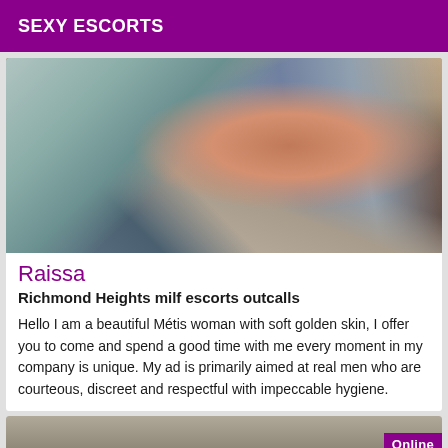SEXY ESCORTS
[Figure (photo): Close-up photo of a colorful patchwork textile or painted surface with swirling patterns in blue, teal, copper/bronze, peach, navy and cream colors on a rounded surface]
Raissa
Richmond Heights milf escorts outcalls
Hello I am a beautiful Métis woman with soft golden skin, I offer you to come and spend a good time with me every moment in my company is unique. My ad is primarily aimed at real men who are courteous, discreet and respectful with impeccable hygiene.
[Figure (photo): Partial photo of another listing, with an 'Online' badge in purple at bottom right]